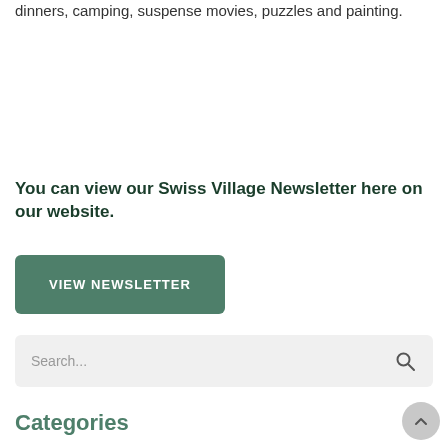dinners, camping, suspense movies, puzzles and painting.
You can view our Swiss Village Newsletter here on our website.
VIEW NEWSLETTER
[Figure (other): Search input field with placeholder text 'Search...' and a magnifying glass icon on the right]
Categories